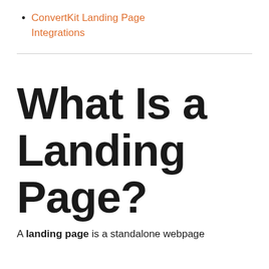ConvertKit Landing Page Integrations
What Is a Landing Page?
A landing page is a standalone webpage